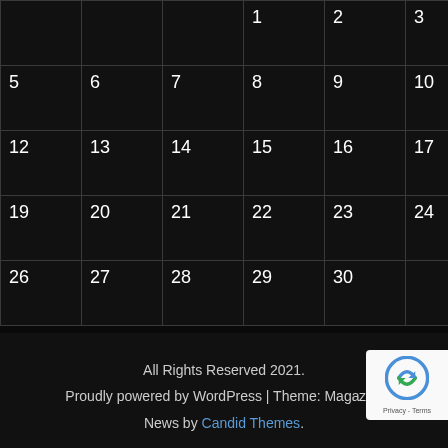|  |  |  |  |  |  |  |
| --- | --- | --- | --- | --- | --- | --- |
|  |  |  | 1 | 2 | 3 | 4 |
| 5 | 6 | 7 | 8 | 9 | 10 | 11 |
| 12 | 13 | 14 | 15 | 16 | 17 | 18 |
| 19 | 20 | 21 | 22 | 23 | 24 | 25 |
| 26 | 27 | 28 | 29 | 30 |  |  |
« Aug
All Rights Reserved 2021.
Proudly powered by WordPress | Theme: Magazine News by Candid Themes.